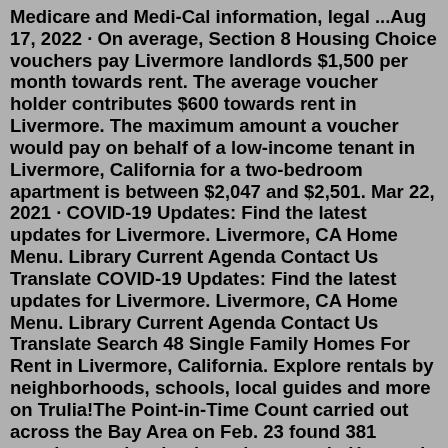Medicare and Medi-Cal information, legal ...Aug 17, 2022 · On average, Section 8 Housing Choice vouchers pay Livermore landlords $1,500 per month towards rent. The average voucher holder contributes $600 towards rent in Livermore. The maximum amount a voucher would pay on behalf of a low-income tenant in Livermore, California for a two-bedroom apartment is between $2,047 and $2,501. Mar 22, 2021 · COVID-19 Updates: Find the latest updates for Livermore. Livermore, CA Home Menu. Library Current Agenda Contact Us Translate COVID-19 Updates: Find the latest updates for Livermore. Livermore, CA Home Menu. Library Current Agenda Contact Us Translate Search 48 Single Family Homes For Rent in Livermore, California. Explore rentals by neighborhoods, schools, local guides and more on Trulia!The Point-in-Time Count carried out across the Bay Area on Feb. 23 found 381 people experiencing homelessness in Hayward — with 114 of these individuals unsheltered — figures that were DOWN 22% and 28%